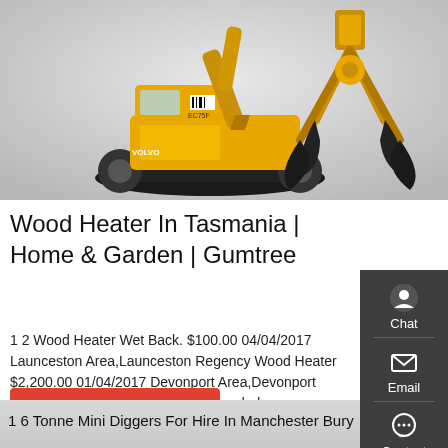[Figure (photo): Yellow construction excavator (EC75F) on the left and a yellow hydraulic grapple/claw attachment on the right, on a grey gradient background.]
Wood Heater In Tasmania | Home & Garden | Gumtree
1 2 Wood Heater Wet Back. $100.00 04/04/2017 Launceston Area,Launceston Regency Wood Heater $2,200.00 01/04/2017 Devonport Area,Devonport Wood heater - second hand one needed
Get a quote
1 6 Tonne Mini Diggers For Hire In Manchester Bury